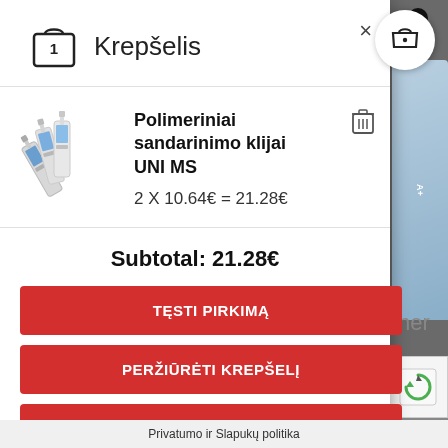Krepšelis
[Figure (illustration): Product image of Polimeriniai sandarinimo klijai UNI MS - three white/silver sealant cartridges]
Polimeriniai sandarinimo klijai UNI MS
2 X 10.64€ = 21.28€
Subtotal: 21.28€
TĘSTI PIRKIMĄ
PERŽIŪRĖTI KREPŠELĮ
APMOKĖJIMAS
Privatumo ir Slapukų politika